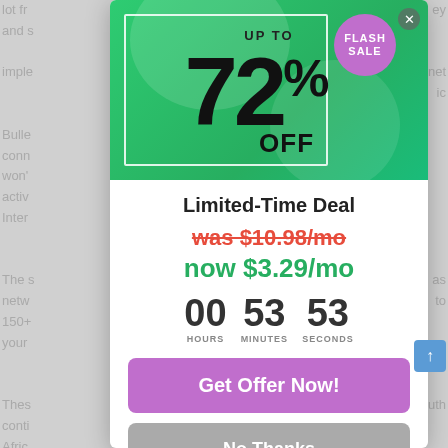[Figure (infographic): Promotional popup modal showing a flash sale: up to 72% off. Green banner at top with large bold '72% off' text, 'FLASH SALE' badge in purple circle, white border rectangle overlay. Below: 'Limited-Time Deal' heading, crossed-out price 'was $10.98/mo' in red, 'now $3.29/mo' in green, countdown timer showing 00 hours 53 minutes 53 seconds, purple 'Get Offer Now!' button, grey 'No Thanks' button.]
Limited-Time Deal
was $10.98/mo
now $3.29/mo
00 HOURS  53 MINUTES  53 SECONDS